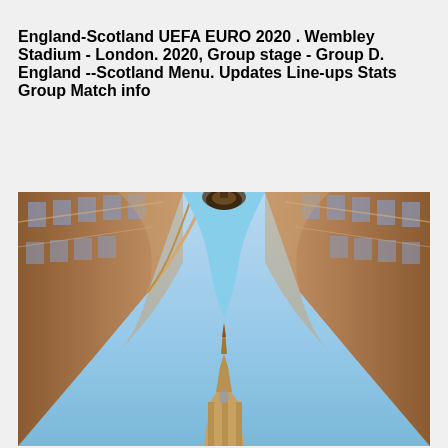England-Scotland UEFA EURO 2020 . Wembley Stadium - London. 2020, Group stage - Group D. England --Scotland Menu. Updates Line-ups Stats Group Match info
[Figure (photo): Upward-looking architectural photo of ornate historic buildings with arched facades on both sides converging toward a light blue sky in the center, with a baroque-style church spire visible at the bottom center.]